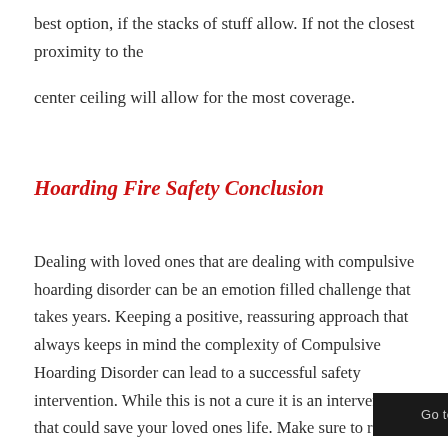best option, if the stacks of stuff allow.  If not the closest proximity to the
center ceiling will allow for the most coverage.
Hoarding Fire Safety Conclusion
Dealing with loved ones that are dealing with compulsive hoarding disorder can be an emotion filled challenge that takes years.  Keeping a positive, reassuring approach that always keeps in mind the complexity of Compulsive Hoarding Disorder can lead to a successful safety intervention.  While this is not a cure it is an intervention that could save your loved ones life.  Make sure to reach out to your local fire departments, hoarding task forces, mental health professionals, and health officials for resources on your journey.